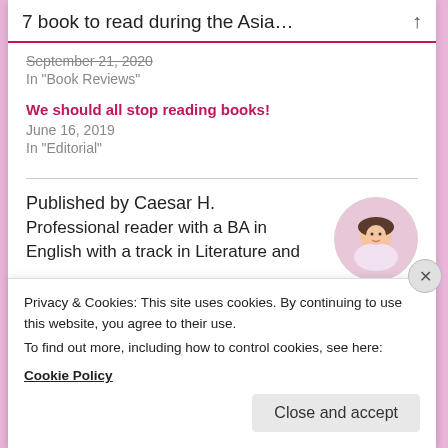7 book to read during the Asia…
September 21, 2020
In "Book Reviews"
We should all stop reading books!
June 16, 2019
In "Editorial"
Published by Caesar H.
Professional reader with a BA in
English with a track in Literature and
[Figure (photo): Circular avatar photo of a smiling person wearing a cap]
Privacy & Cookies: This site uses cookies. By continuing to use this website, you agree to their use.
To find out more, including how to control cookies, see here:
Cookie Policy
Close and accept